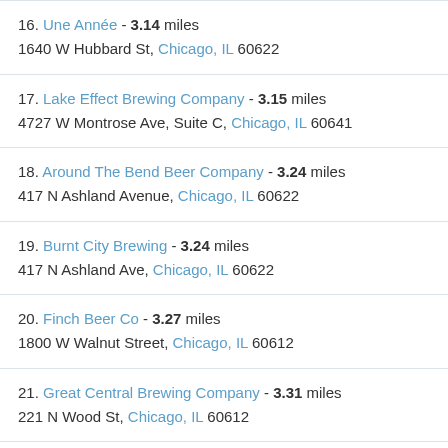16. Une Année - 3.14 miles
1640 W Hubbard St, Chicago, IL 60622
17. Lake Effect Brewing Company - 3.15 miles
4727 W Montrose Ave, Suite C, Chicago, IL 60641
18. Around The Bend Beer Company - 3.24 miles
417 N Ashland Avenue, Chicago, IL 60622
19. Burnt City Brewing - 3.24 miles
417 N Ashland Ave, Chicago, IL 60622
20. Finch Beer Co - 3.27 miles
1800 W Walnut Street, Chicago, IL 60612
21. Great Central Brewing Company - 3.31 miles
221 N Wood St, Chicago, IL 60612
22. Urban Brew Labs - 3.56 miles
121 N Ravenswood Ave, Chicago, IL 60640
23. Metropolitan Brewing - 3.64 miles